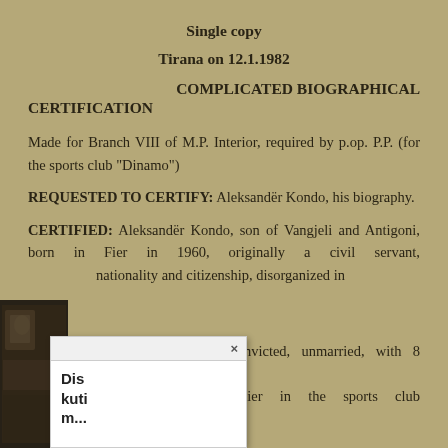Single copy
Tirana on 12.1.1982
COMPLICATED BIOGRAPHICAL CERTIFICATION
Made for Branch VIII of M.P. Interior, required by p.op. P.P. (for the sports club “Dinamo”)
REQUESTED TO CERTIFY: Aleksandër Kondo, his biography.
CERTIFIED: Aleksandër Kondo, son of Vangjeli and Antigoni, born in Fier in 1960, originally a civil servant, nationality and citizenship, disorganized in nconvicted, unmarried, with 8 years of soldier in the sports club “Dinamo”, lives in
[Figure (photo): Partial photo strip visible at bottom left corner, appearing to be a black and white photograph]
Dis kuti m... ×